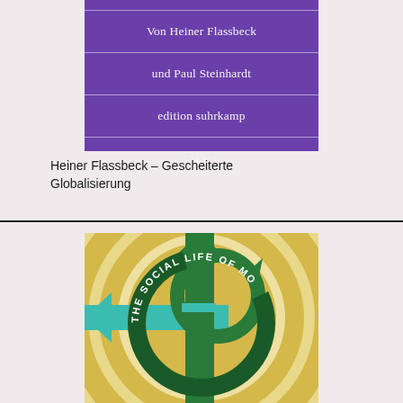[Figure (illustration): Book cover with purple background showing text: 'die Renaissance des Staates / Von Heiner Flassbeck / und Paul Steinhardt / edition suhrkamp / SV' in white serif font, with horizontal divider lines between each text block]
Heiner Flassbeck – Gescheiterte Globalisierung
[Figure (illustration): Book cover with yellow/gold background showing a green circular arrow dollar sign logo with teal/turquoise crossing arrows, and curved text reading 'THE SOCIAL LIFE OF MO...' (money)]